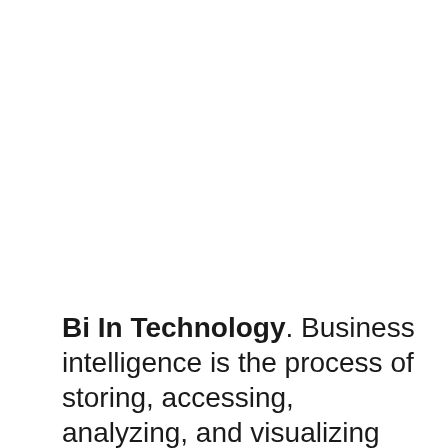Bi In Technology. Business intelligence is the process of storing, accessing, analyzing, and visualizing data to make better business decisions. Our core competencies are software development, software